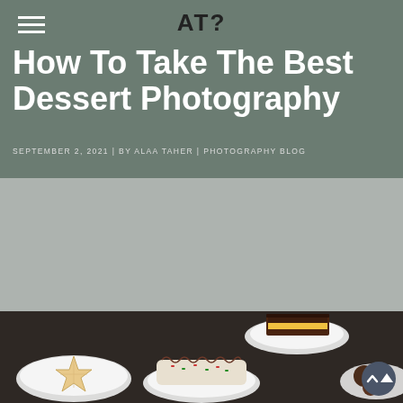ATP
How To Take The Best Dessert Photography
SEPTEMBER 2, 2021 | BY ALAA TAHER | PHOTOGRAPHY BLOG
[Figure (photo): Advertisement / blank gray area placeholder]
[Figure (photo): Overhead shot of various desserts on white plates on a dark wooden table, including decorated cookies, a chocolate-layered cake slice, a frosted roll cake with sprinkles, and chocolate truffles]